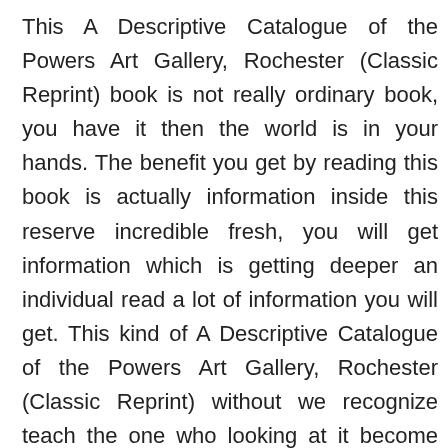This A Descriptive Catalogue of the Powers Art Gallery, Rochester (Classic Reprint) book is not really ordinary book, you have it then the world is in your hands. The benefit you get by reading this book is actually information inside this reserve incredible fresh, you will get information which is getting deeper an individual read a lot of information you will get. This kind of A Descriptive Catalogue of the Powers Art Gallery, Rochester (Classic Reprint) without we recognize teach the one who looking at it become critical in imagining and analyzing. Don't be worry A Descriptive Catalogue of the Powers Art Gallery, Rochester (Classic Reprint) can bring any time you are and not make your tote space or bookshelves'